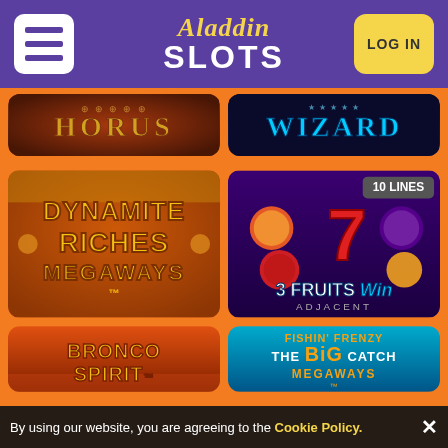[Figure (screenshot): Aladdin Slots casino website header with hamburger menu, logo, and LOG IN button on purple background]
[Figure (screenshot): Partially visible game cards: HORUS slot (left) and WIZARD slot (right) on orange background]
[Figure (screenshot): Dynamite Riches Megaways slot game card on dark orange/gold background]
[Figure (screenshot): 3 Fruits Win Adjacent slot game card with 10 LINES badge, purple background with fruit symbols]
[Figure (screenshot): Bronco Spirit slot game card with desert landscape]
[Figure (screenshot): Fishin Frenzy The Big Catch Megaways slot game card with underwater theme]
By using our website, you are agreeing to the Cookie Policy.